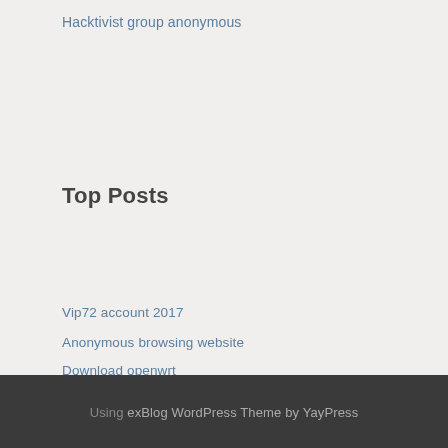Hacktivist group anonymous
Top Posts
Vip72 account 2017
Anonymous browsing website
Download openwrt
Stream the rose bowl online
Play heroes of the storm
Using exBlog WordPress Theme by YayPress